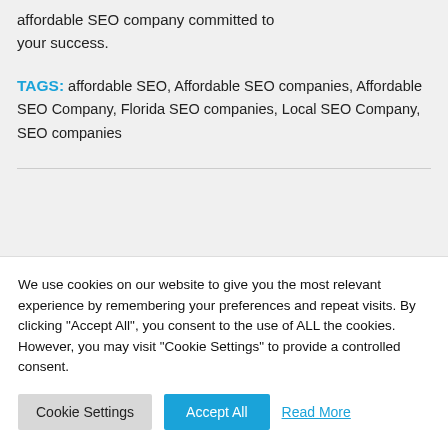affordable SEO company committed to your success.
TAGS: affordable SEO, Affordable SEO companies, Affordable SEO Company, Florida SEO companies, Local SEO Company, SEO companies
We use cookies on our website to give you the most relevant experience by remembering your preferences and repeat visits. By clicking "Accept All", you consent to the use of ALL the cookies. However, you may visit "Cookie Settings" to provide a controlled consent.